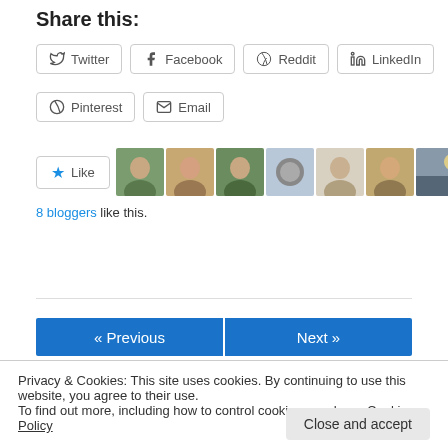Share this:
Twitter | Facebook | Reddit | LinkedIn
Pinterest | Email
[Figure (other): Like button with 8 blogger avatar thumbnails]
8 bloggers like this.
August 24, 2012
« Previous   Next »
Privacy & Cookies: This site uses cookies. By continuing to use this website, you agree to their use. To find out more, including how to control cookies, see here: Cookie Policy
Close and accept
people confuse "less" and "fewer." Less is only